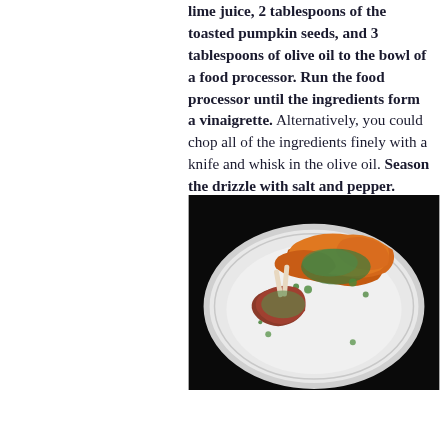lime juice, 2 tablespoons of the toasted pumpkin seeds, and 3 tablespoons of olive oil to the bowl of a food processor. Run the food processor until the ingredients form a vinaigrette. Alternatively, you could chop all of the ingredients finely with a knife and whisk in the olive oil. Season the drizzle with salt and pepper.
[Figure (photo): A white plate on a dark background with lamb chops topped with a green herb and pumpkin seed vinaigrette, accompanied by roasted orange squash or pumpkin wedges garnished with fresh herbs.]
...